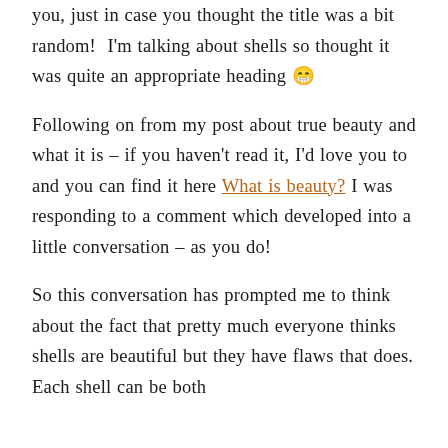you, just in case you thought the title was a bit random!  I'm talking about shells so thought it was quite an appropriate heading 😁
Following on from my post about true beauty and what it is – if you haven't read it, I'd love you to and you can find it here What is beauty? I was responding to a comment which developed into a little conversation – as you do!
So this conversation has prompted me to think about the fact that pretty much everyone thinks shells are beautiful but they have flaws that does. Each shell can be both...